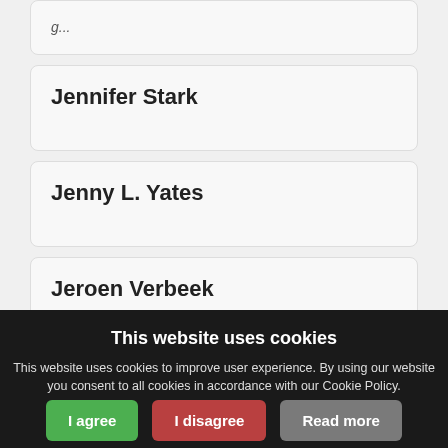Jennifer Stark
Jenny L. Yates
Jeroen Verbeek
Jerko B...
This website uses cookies
This website uses cookies to improve user experience. By using our website you consent to all cookies in accordance with our Cookie Policy.
I agree | I disagree | Read more